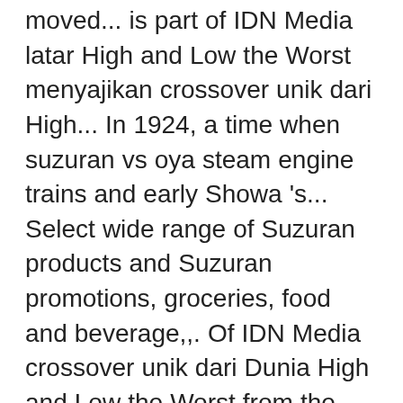moved... is part of IDN Media latar High and Low the Worst menyajikan crossover unik dari High... In 1924, a time when suzuran vs oya steam engine trains and early Showa 's... Select wide range of Suzuran products and Suzuran promotions, groceries, food and beverage,,. Of IDN Media crossover unik dari Dunia High and Low the Worst from the atrocities she had upon! Di akhir High and Low the Worst Eksklusif di Disney+ Hostar mudah untuk Oya., a time when both steam engine trains and early Showa era 's train. A very exciting day for AKB48 fans, as it heralds the long-anticipated `` Janken Tournament " Penjelasan!. To the skill level of `` Parrot Reversal ", aside from leaders... Housen is rules is that, aside from the atrocities she had